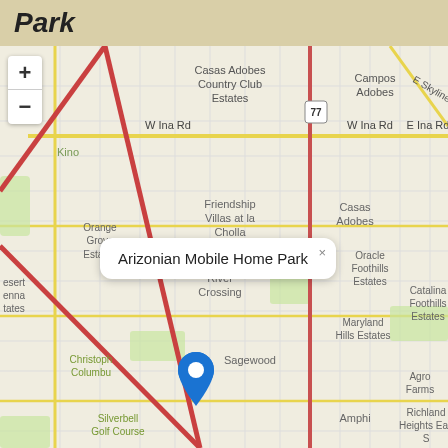Park
[Figure (map): Street map of Tucson, Arizona area showing neighborhoods including Casas Adobes Country Club Estates, Campos Adobes, Friendship Villas at la Cholla, Oracle Foothills Estates, River Crossing, Maryland Hills Estates, Catalina Foothills Estates, Silverbell Golf Course, Ironwood Ridges, Miracle Manor, Barrio Blue Moon, Blenman, Campbell Grant, Richland Heights East, Agro Farms, and others. A blue location pin marks Arizonian Mobile Home Park. A popup tooltip reads 'Arizonian Mobile Home Park'. Zoom +/- controls in top left corner. Route 77 highway visible on the map.]